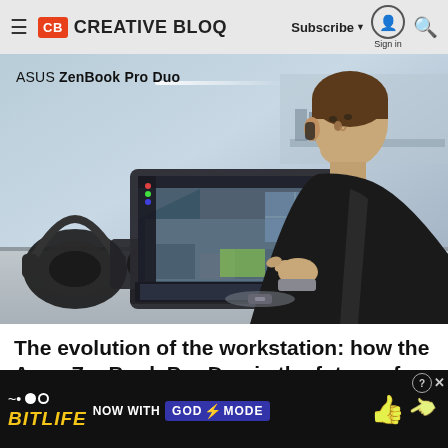Creative Bloq — Subscribe | Sign in | Search
[Figure (photo): Man in black leather jacket using ASUS ZenBook Pro Duo laptop at a desk, with headphones and camera nearby. Text overlay reads: ASUS ZenBook Pro Duo]
The evolution of the workstation: how the Asus ZenBook Pro Duo is the future of...
[Figure (other): BitLife advertisement banner. Text: BitLife NOW WITH GOD MODE. Features thumbs up emoji and hand pointing icons with close/question buttons.]